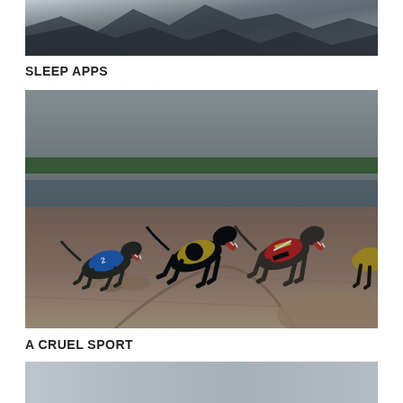[Figure (photo): Partial image at top of page, appears to show a dark mountainous or landscape scene in black and white/grayscale]
SLEEP APPS
[Figure (photo): Three greyhound dogs racing on a dirt track at night, wearing colored racing jackets (blue, black/gold, and black/red/yellow). The dogs are mid-stride, mouths open, kicking up dirt. A concrete wall is visible in the background.]
A CRUEL SPORT
[Figure (photo): Partial image at bottom of page, appears to show a gray/silver surface, possibly another photo continuation]